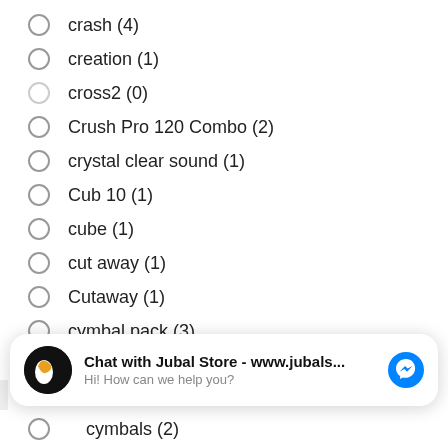crash (4)
creation (1)
cross2 (0)
Crush Pro 120 Combo (2)
crystal clear sound (1)
Cub 10 (1)
cube (1)
cut away (1)
Cutaway (1)
cymbal pack (3)
[Figure (screenshot): Chat widget: Chat with Jubal Store - www.jubals... Hi! How can we help you?]
cymbals (2)